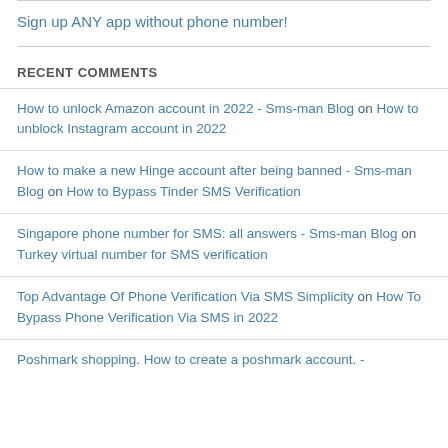Sign up ANY app without phone number!
RECENT COMMENTS
How to unlock Amazon account in 2022 - Sms-man Blog on How to unblock Instagram account in 2022
How to make a new Hinge account after being banned - Sms-man Blog on How to Bypass Tinder SMS Verification
Singapore phone number for SMS: all answers - Sms-man Blog on Turkey virtual number for SMS verification
Top Advantage Of Phone Verification Via SMS Simplicity on How To Bypass Phone Verification Via SMS in 2022
Poshmark shopping. How to create a poshmark account. -